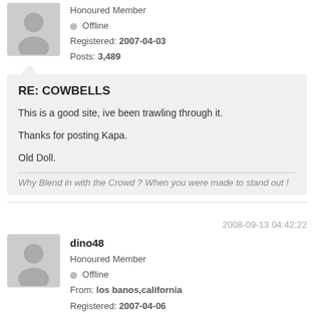Honoured Member
Offline
Registered: 2007-04-03
Posts: 3,489
RE: COWBELLS
This is a good site, ive been trawling through it.

Thanks for posting Kapa.

Old Doll.
Why Blend in with the Crowd ? When you were made to stand out !
2008-09-13 04:42:22
dino48
Honoured Member
Offline
From: los banos,california
Registered: 2007-04-06